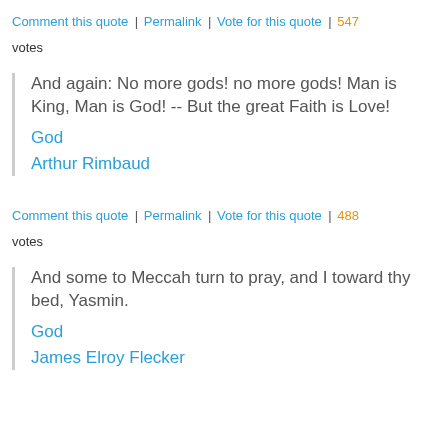Comment this quote | Permalink | Vote for this quote | 547 votes
And again: No more gods! no more gods! Man is King, Man is God! -- But the great Faith is Love!
God
Arthur Rimbaud
Comment this quote | Permalink | Vote for this quote | 488 votes
And some to Meccah turn to pray, and I toward thy bed, Yasmin.
God
James Elroy Flecker